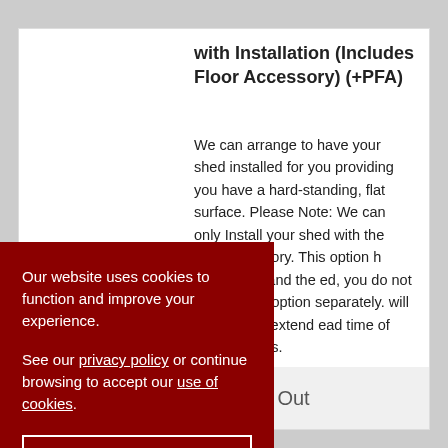with Installation (Includes Floor Accessory) (+PFA)
We can arrange to have your shed installed for you providing you have a hard-standing, flat surface. Please Note: We can only Install your shed with the floor accessory. This option h Installation and the ed, you do not need to oor option separately. will additionally extend ead time of your order ks.
£540.00  Sold Out
Our website uses cookies to function and improve your experience.

See our privacy policy or continue browsing to accept our use of cookies.
Accept & Close